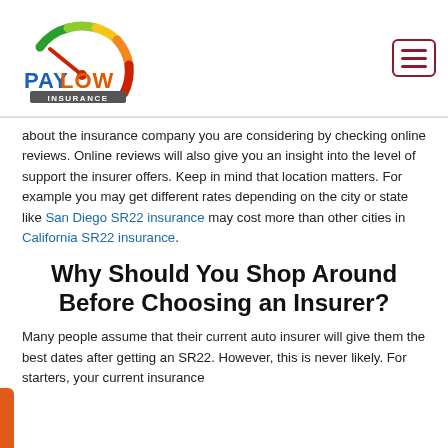[Figure (logo): Pay Low Insurance logo — speedometer graphic with colorful arc and 'PAY LOW INSURANCE' text]
about the insurance company you are considering by checking online reviews. Online reviews will also give you an insight into the level of support the insurer offers. Keep in mind that location matters. For example you may get different rates depending on the city or state like San Diego SR22 insurance may cost more than other cities in California SR22 insurance.
Why Should You Shop Around Before Choosing an Insurer?
Many people assume that their current auto insurer will give them the best dates after getting an SR22. However, this is never likely. For starters, your current insurance